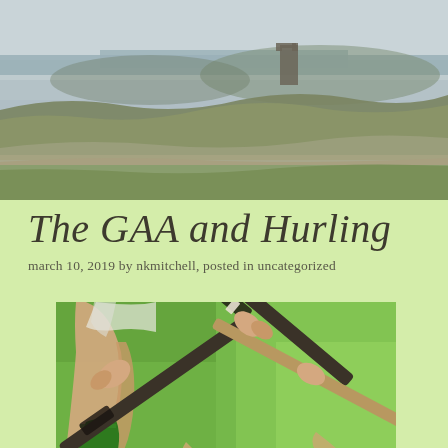[Figure (photo): Landscape photo of Irish countryside with ruins of a castle/tower in the background, green hills, stone walls, and a lake or river visible in the distance under overcast sky.]
The GAA and Hurling
march 10, 2019 by nkmitchell, posted in uncategorized
[Figure (photo): Close-up photo of hurling players holding hurleys (hurling sticks) on a grass field. The sticks cross each other in the foreground. Players wearing green socks visible.]